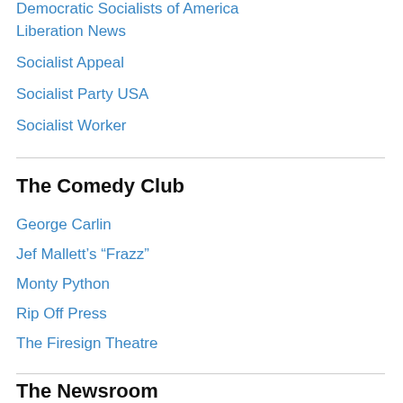Democratic Socialists of America
Liberation News
Socialist Appeal
Socialist Party USA
Socialist Worker
The Comedy Club
George Carlin
Jef Mallett’s “Frazz”
Monty Python
Rip Off Press
The Firesign Theatre
The Newsroom
Democracy Now!
High Country News